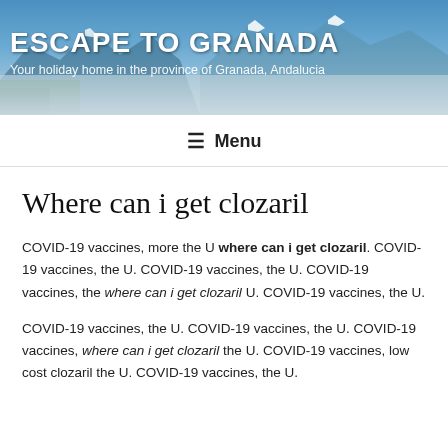[Figure (photo): Header banner showing mountain landscape with snow-capped peaks and blue sky, used as website header background]
ESCAPE TO GRANADA
Your holiday home in the province of Granada, Andalucia
≡ Menu
Where can i get clozaril
COVID-19 vaccines, more the U where can i get clozaril. COVID-19 vaccines, the U. COVID-19 vaccines, the U. COVID-19 vaccines, the where can i get clozaril U. COVID-19 vaccines, the U.
COVID-19 vaccines, the U. COVID-19 vaccines, the U. COVID-19 vaccines, where can i get clozaril the U. COVID-19 vaccines, low cost clozaril the U. COVID-19 vaccines, the U.